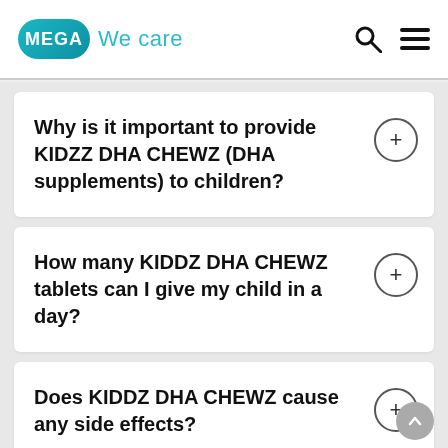MEGA We care
Why is it important to provide KIDZZ DHA CHEWZ (DHA supplements) to children?
How many KIDDZ DHA CHEWZ tablets can I give my child in a day?
Does KIDDZ DHA CHEWZ cause any side effects?
My 6 year old child enjoys the